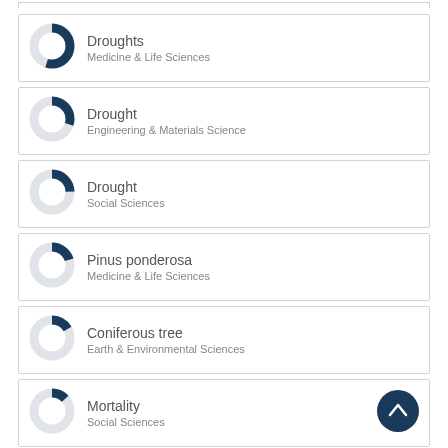[Figure (infographic): Donut chart item: Droughts, Medicine & Life Sciences, ~80% fill]
[Figure (infographic): Donut chart item: Drought, Engineering & Materials Science, ~55% fill]
[Figure (infographic): Donut chart item: Drought, Social Sciences, ~50% fill]
[Figure (infographic): Donut chart item: Pinus ponderosa, Medicine & Life Sciences, ~45% fill]
[Figure (infographic): Donut chart item: Coniferous tree, Earth & Environmental Sciences, ~42% fill]
[Figure (infographic): Donut chart item: Mortality, Social Sciences, ~38% fill]
View full fingerprint >